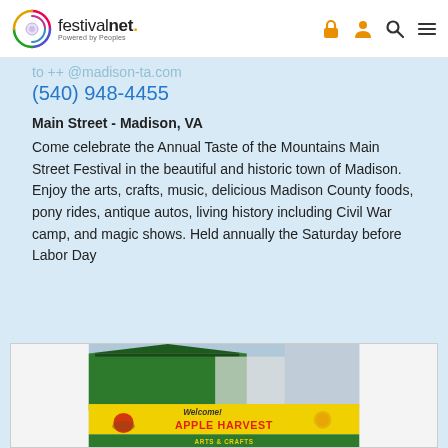festivalnet. Powered by Peoples
to ++ @madison-ta.com
(540) 948-4455
Main Street - Madison, VA
Come celebrate the Annual Taste of the Mountains Main Street Festival in the beautiful and historic town of Madison. Enjoy the arts, crafts, music, delicious Madison County foods, pony rides, antique autos, living history including Civil War camp, and magic shows. Held annually the Saturday before Labor Day
[Figure (photo): Outdoor festival photo showing a banner reading 'Welcome! APPLE HARVEST ARTS & CRAFTS' with green tents and outdoor stalls in the background.]